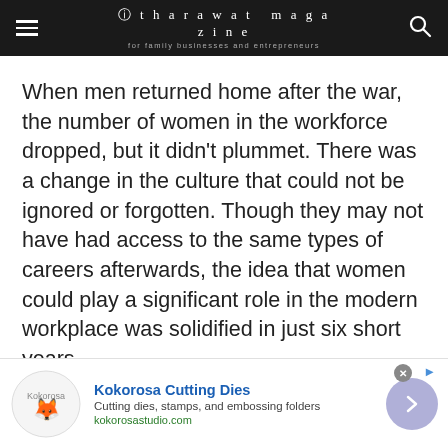itharawat magazine — for family businesses and entrepreneurs
When men returned home after the war, the number of women in the workforce dropped, but it didn't plummet. There was a change in the culture that could not be ignored or forgotten. Though they may not have had access to the same types of careers afterwards, the idea that women could play a significant role in the modern workplace was solidified in just six short years.
[Figure (infographic): Advertisement banner for Kokorosa Cutting Dies showing logo with fox illustration, brand name in blue bold text, tagline 'Cutting dies, stamps, and embossing folders', website kokorosastudio.com in green, and a lavender arrow button on the right.]